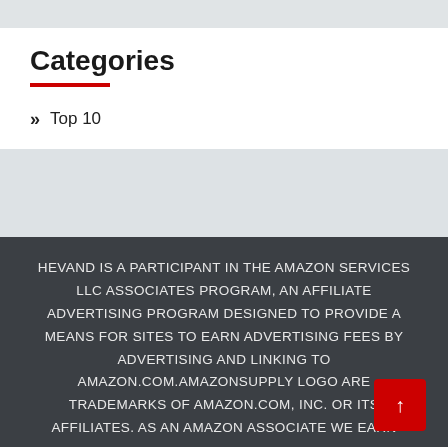Categories
Top 10
HEVAND IS A PARTICIPANT IN THE AMAZON SERVICES LLC ASSOCIATES PROGRAM, AN AFFILIATE ADVERTISING PROGRAM DESIGNED TO PROVIDE A MEANS FOR SITES TO EARN ADVERTISING FEES BY ADVERTISING AND LINKING TO AMAZON.COM.AMAZONSUPPLY LOGO ARE TRADEMARKS OF AMAZON.COM, INC. OR ITS AFFILIATES. AS AN AMAZON ASSOCIATE WE EARN